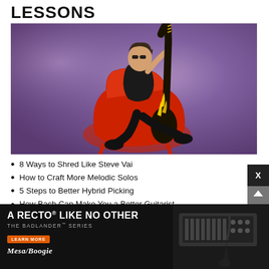LESSONS
[Figure (photo): A guitarist wearing sunglasses and all black, reclining in a red chair while holding a black and yellow flame-decorated electric guitar up vertically, against a purple/mauve background.]
8 Ways to Shred Like Steve Vai
How to Craft More Melodic Solos
5 Steps to Better Hybrid Picking
How Bach Can Make You a Better Guitarist
Shou...
[Figure (infographic): Mesa/Boogie advertisement: 'A RECTO LIKE NO OTHER — THE BADLANDER SERIES' with a LEARN MORE button, Mesa/Boogie logo, and image of a guitar amplifier head next to a guitar.]